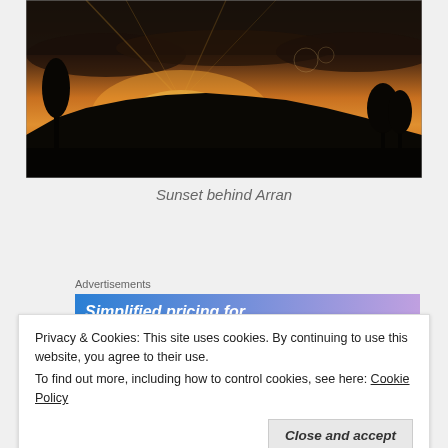[Figure (photo): Panoramic sunset photograph with dark silhouettes of trees and mountains against a dramatic golden and dark sky with rays of light breaking through clouds. Caption: Sunset behind Arran.]
Sunset behind Arran
Advertisements
[Figure (screenshot): Advertisement banner with blue-to-purple gradient showing text 'Simplified pricing for']
Privacy & Cookies: This site uses cookies. By continuing to use this website, you agree to their use.
To find out more, including how to control cookies, see here: Cookie Policy
Close and accept
Its Friday night at 6:30pm, and a sign of how life has